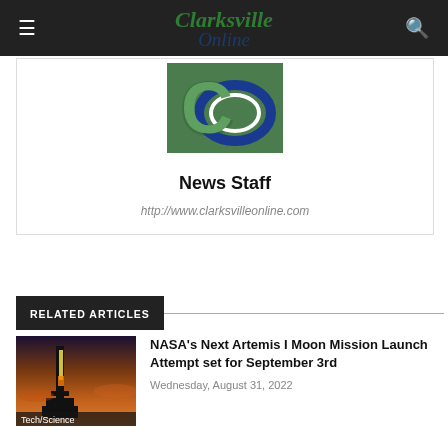Clarksville Online
[Figure (logo): Clarksville Online circular CO logo in green and blue]
News Staff
http://www.clarksvilleonline.com
RELATED ARTICLES
[Figure (photo): Rocket on launch pad at sunset/dusk with orange and purple sky, Tech/Science label]
NASA's Next Artemis I Moon Mission Launch Attempt set for September 3rd
Wednesday, August 31, 2022